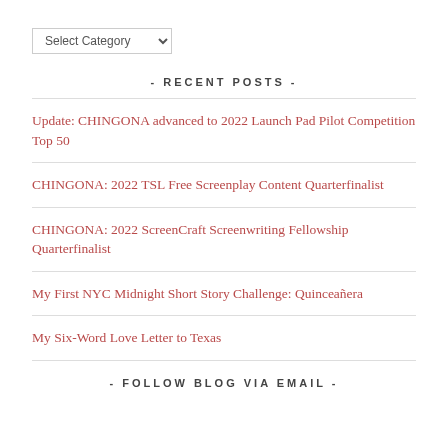Select Category
- RECENT POSTS -
Update: CHINGONA advanced to 2022 Launch Pad Pilot Competition Top 50
CHINGONA: 2022 TSL Free Screenplay Content Quarterfinalist
CHINGONA: 2022 ScreenCraft Screenwriting Fellowship Quarterfinalist
My First NYC Midnight Short Story Challenge: Quinceañera
My Six-Word Love Letter to Texas
- FOLLOW BLOG VIA EMAIL -